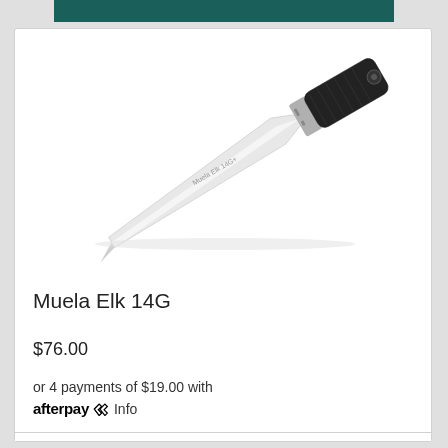[Figure (photo): A Muela Elk 14G hunting knife with a silver blade and black handle, shown diagonally on a white background.]
Muela Elk 14G
$76.00
or 4 payments of $19.00 with afterpay Info